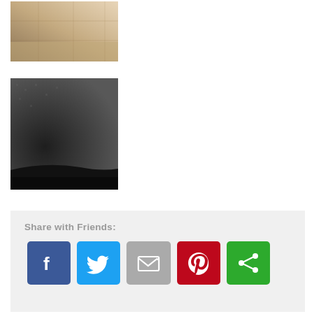[Figure (photo): Top product thumbnail showing a close-up of a mat surface with beige/tan coloring]
[Figure (photo): Second product thumbnail showing a dark grey/charcoal mat with black rubber border at bottom-left corner]
Share with Friends:
[Figure (infographic): Social share buttons: Facebook (blue), Twitter (cyan), Email (grey), Pinterest (red), Share (green)]
6FT Custom Lengths – Grizzly FX
Grizzly FX offers the best value and best performance for heavy-duty commercial entrance matting available in Canada.  We build each Grizzly FX mat to order locally, right here in Port